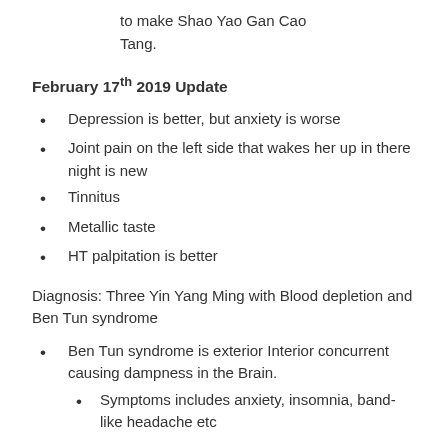to make Shao Yao Gan Cao Tang.
February 17th 2019 Update
Depression is better, but anxiety is worse
Joint pain on the left side that wakes her up in there night is new
Tinnitus
Metallic taste
HT palpitation is better
Diagnosis: Three Yin Yang Ming with Blood depletion and Ben Tun syndrome
Ben Tun syndrome is exterior Interior concurrent causing dampness in the Brain.
Symptoms includes anxiety, insomnia, band-like headache etc